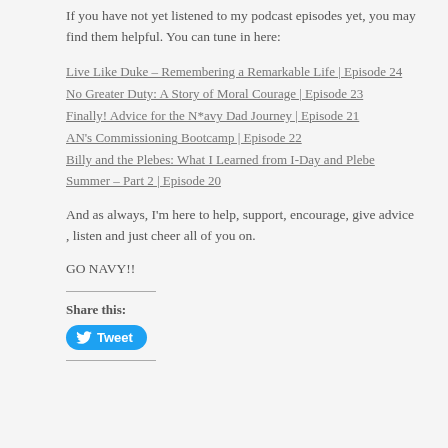If you have not yet listened to my podcast episodes yet, you may find them helpful. You can tune in here:
Live Like Duke – Remembering a Remarkable Life | Episode 24
No Greater Duty: A Story of Moral Courage | Episode 23
Finally! Advice for the N*avy Dad Journey | Episode 21
AN's Commissioning Bootcamp | Episode 22
Billy and the Plebes: What I Learned from I-Day and Plebe Summer – Part 2 | Episode 20
And as always, I'm here to help, support, encourage, give advice , listen and just cheer all of you on.
GO NAVY!!
Share this:
[Figure (other): Tweet button with Twitter bird icon]